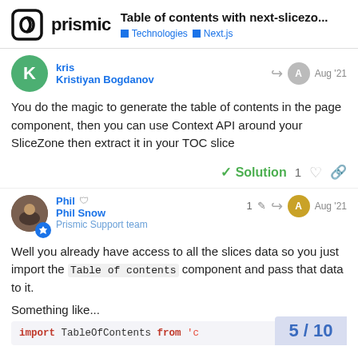Table of contents with next-slicezo... | Technologies | Next.js
kris
Kristiyan Bogdanov
Aug '21
You do the magic to generate the table of contents in the page component, then you can use Context API around your SliceZone then extract it in your TOC slice
✓ Solution   1
Phil
Phil Snow
Prismic Support team
1  Aug '21
Well you already have access to all the slices data so you just import the Table of contents component and pass that data to it.

Something like...
import TableOfContents from 'c...
5 / 10